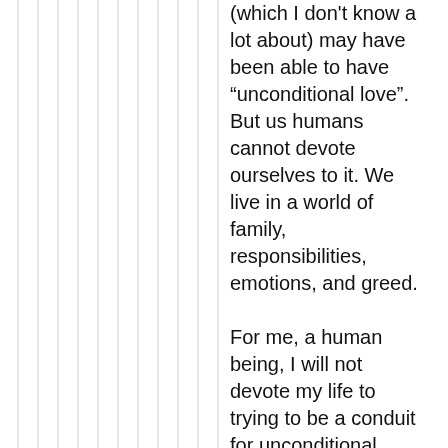(which I don't know a lot about) may have been able to have "unconditional love".  But us humans cannot devote ourselves to it. We live in a world of family, responsibilities, emotions, and greed.

For me, a human being, I will not devote my life to trying to be a conduit for unconditional love. There are judgements to be made and expectations that need to be met to live harmoniously. Where there are no laws or rules, there is mayhem